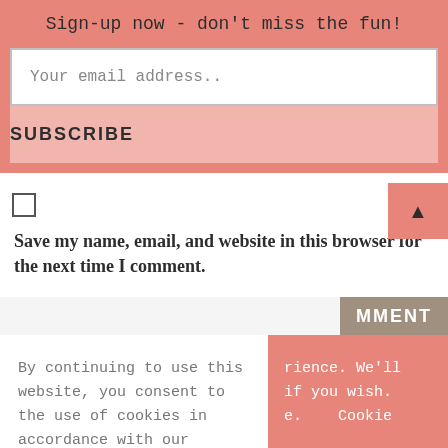Sign-up now - don't miss the fun!
Your email address..
SUBSCRIBE
Save my name, email, and website in this browser for the next time I comment.
MMENT
By continuing to use this website, you consent to the use of cookies in accordance with our Cookie Policy.
rience. We'll if you wish. e.    Cookie
ACCEPT